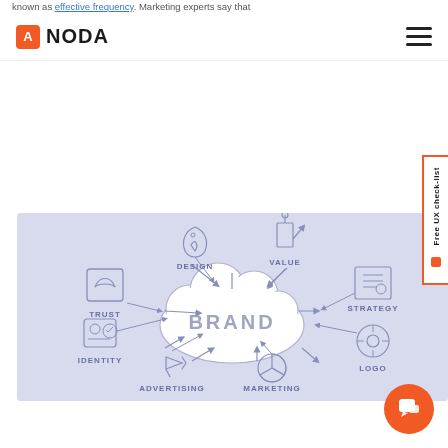known as effective frequency. Marketing experts say that
[Figure (logo): ANODA logo with orange square icon containing white letter A and bold text ANODA]
[Figure (infographic): Brand mind-map infographic on a light blue/purple background. Central cloud shape with text BRAND, surrounded by 8 labeled nodes with icons: TRUST (handshake), DESIGN (feather/quill), VALUE (money/graph), STRATEGY (briefcase/checklist), LOGO (sun/gear), MARKETING (pie chart), ADVERTISING (megaphone), IDENTITY (ID card). Arrows connect each label to the central BRAND cloud.]
[Figure (other): Orange circular chat/messenger button with white speech bubble icon in bottom right corner]
[Figure (other): Orange vertical side tab on right edge with text 'Free UX check-list' rotated vertically and a small orange square dot]